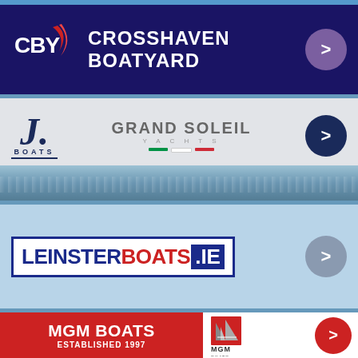[Figure (logo): CBY Crosshaven Boatyard banner on dark navy background with red and white swoosh logo, text CROSSHAVEN BOATYARD in white, purple circle arrow button on right]
[Figure (logo): J. Boats and Grand Soleil Yachts banner on light grey background with ocean water image at bottom, dark navy circle arrow button on right]
[Figure (logo): LEINSTERBOATS.IE banner on light blue background, logo in bordered box with blue and red text, grey circle arrow button on right]
[Figure (logo): MGM BOATS ESTABLISHED 1997 banner, red left section with white text, white right section with MGM Boats logo and red circle arrow button]